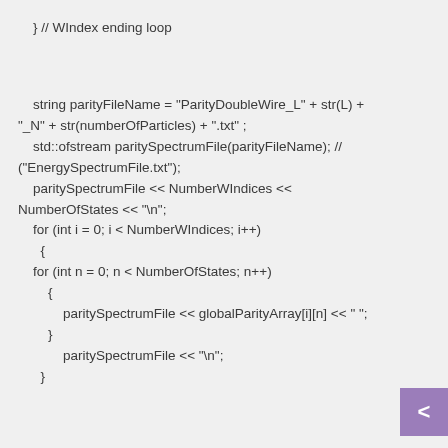} // WIndex ending loop

string parityFileName = "ParityDoubleWire_L" + str(L) + "_N" + str(numberOfParticles) + ".txt" ;
    std::ofstream paritySpectrumFile(parityFileName); // ("EnergySpectrumFile.txt");
    paritySpectrumFile << NumberWIndices << NumberOfStates << "\n";
    for (int i = 0; i < NumberWIndices; i++)
      {
    for (int n = 0; n < NumberOfStates; n++)
        {
            paritySpectrumFile << globalParityArray[i][n] << " ";
        }
            paritySpectrumFile << "\n";
      }


string energyFileName = "EnergiesDoubleWire_L" +